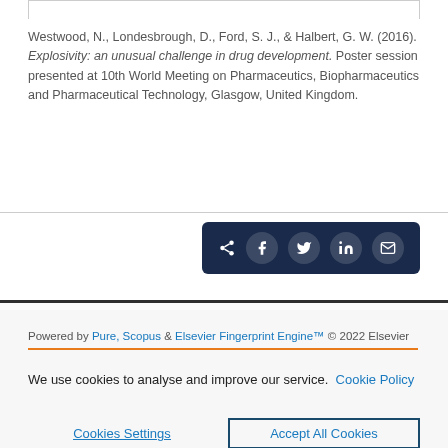Westwood, N., Londesbrough, D., Ford, S. J., & Halbert, G. W. (2016). Explosivity: an unusual challenge in drug development. Poster session presented at 10th World Meeting on Pharmaceutics, Biopharmaceutics and Pharmaceutical Technology, Glasgow, United Kingdom.
[Figure (infographic): Share bar with social media icons: share arrow, Facebook, Twitter, LinkedIn, email on dark navy background]
Powered by Pure, Scopus & Elsevier Fingerprint Engine™ © 2022 Elsevier
We use cookies to analyse and improve our service. Cookie Policy
Cookies Settings     Accept All Cookies